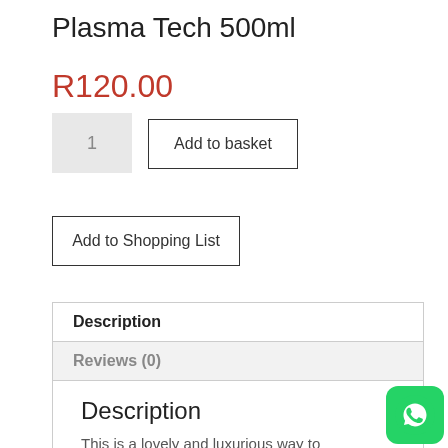Plasma Tech 500ml
R120.00
1
Add to basket
Add to Shopping List
Description
Reviews (0)
Description
This is a lovely and luxurious way to experience improved healing while